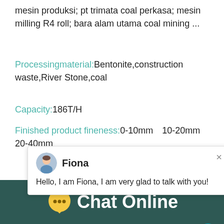mesin produksi; pt trimata coal perkasa; mesin milling R4 roll; bara alam utama coal mining ...
Processingmaterial: Bentonite,construction waste,River Stone,coal
Capacity: 186T/H
Finished product fineness: 0-10mm、0-20mm、20-40mm
[Figure (screenshot): Chat popup with agent Fiona saying 'Hello, I am Fiona, I am very glad to talk with you!']
[Figure (photo): Industrial mining/milling machinery structure against blue sky, with a cone crusher visible on the right, notification badge showing '1', and a 'Click me to chat>>' button.]
Chat Online